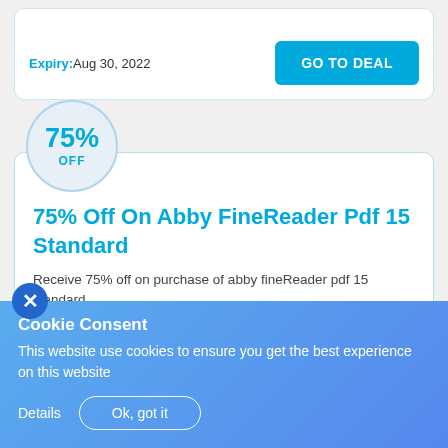Expiry: Aug 30, 2022
GO TO DEAL
75% OFF
75% Off On Abby FineReader Pdf 15 Standard
Receive 75% off on purchase of abby fineReader pdf 15 standard.
Expiry: Aug 31, 2022
GO TO DEAL
Cookie Consent
This website use cookies to ensure you get the best experience on this website
Details
Ok, got it